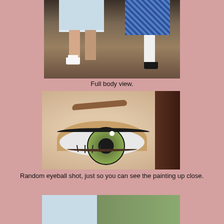[Figure (photo): Close-up of two dolls' lower bodies showing dresses and shoes — one in light blue dress with white socks and white shoes, one in blue plaid skirt with white stockings and black shoes, standing on ground with sticks and leaves]
Full body view.
[Figure (photo): Extreme close-up of a doll's painted eye showing green-grey iris with black pupil, brown eyebrow, eyeliner, and lower lashes against skin-toned face with dark hair visible on right]
Random eyeball shot, just so you can see the painting up close.
[Figure (photo): Partial view of a doll with blue clothing/hat against a green outdoor background — top portion of image only visible]